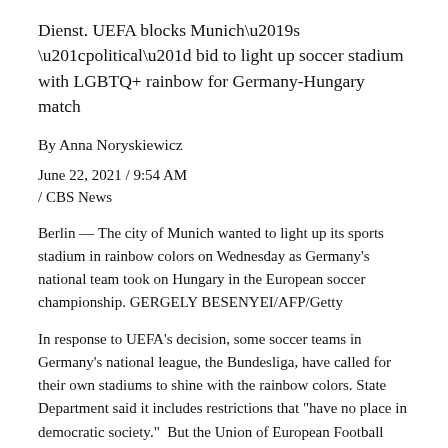Dienst. UEFA blocks Munich’s “political” bid to light up soccer stadium with LGBTQ+ rainbow for Germany-Hungary match
By Anna Noryskiewicz
June 22, 2021 / 9:54 AM / CBS News
Berlin — The city of Munich wanted to light up its sports stadium in rainbow colors on Wednesday as Germany’s national team took on Hungary in the European soccer championship. GERGELY BESENYEI/AFP/Getty
In response to UEFA’s decision, some soccer teams in Germany’s national league, the Bundesliga, have called for their own stadiums to shine with the rainbow colors. State Department said it includes restrictions that “have no place in democratic society.”  But the Union of European Football Associations (UEFA) rejected the request by the Munich City Council. Trending News
How to watch the full “strawberry” moon, the last supermoon of 2021